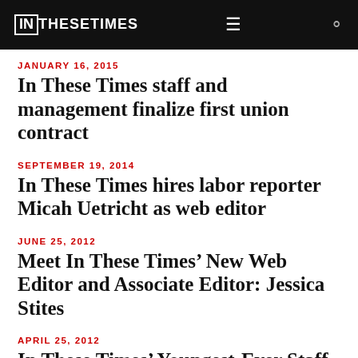IN THESE TIMES
JANUARY 16, 2015
In These Times staff and management finalize first union contract
SEPTEMBER 19, 2014
In These Times hires labor reporter Micah Uetricht as web editor
JUNE 25, 2012
Meet In These Times’ New Web Editor and Associate Editor: Jessica Stites
APRIL 25, 2012
In These Times’ Youngest-Ever Staff Writer